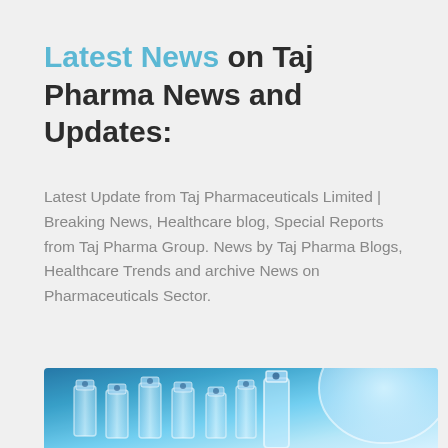Latest News on Taj Pharma News and Updates:
Latest Update from Taj Pharmaceuticals Limited | Breaking News, Healthcare blog, Special Reports from Taj Pharma Group. News by Taj Pharma Blogs, Healthcare Trends and archive News on Pharmaceuticals Sector.
[Figure (photo): Blue-tinted photograph of multiple pharmaceutical vials/ampoules with metal caps arranged together, with a large round container visible in the background, all in shades of blue.]